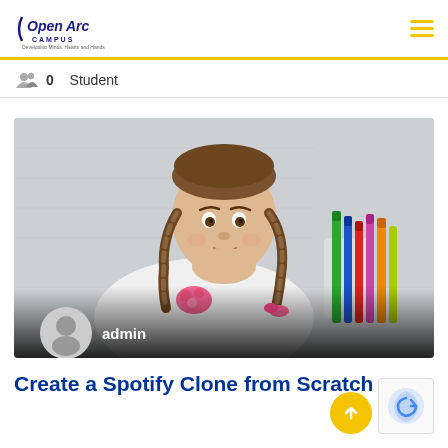OpenArc CAMPUS - Developing Minds, Hearts and Hands
0 Student
[Figure (photo): Young girl with braids resting her chin on her hand, smiling at camera, with colorful markers/pens in the background. Admin profile photo overlay at bottom left with text 'admin'.]
Create a Spotify Clone from Scratch
...course description text...